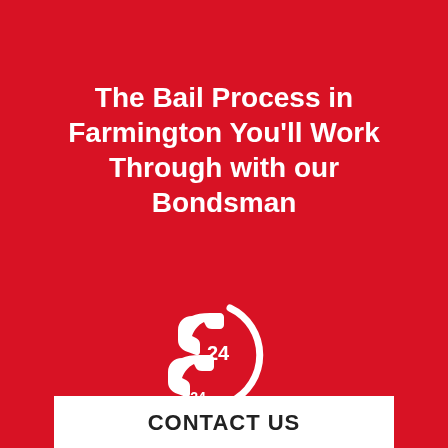The Bail Process in Farmington You'll Work Through with our Bondsman
[Figure (illustration): 24-hour phone service icon: two overlapping telephone handset silhouettes with '24' text inside a circular arc, rendered in white on red background]
CONTACT US